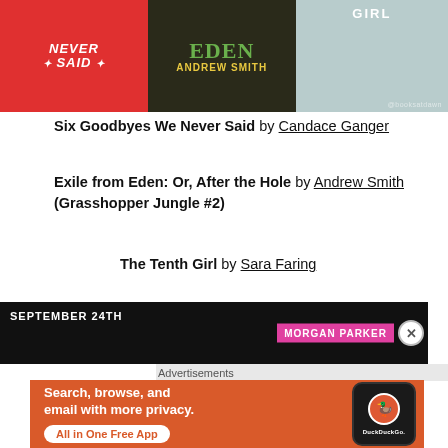[Figure (photo): Book covers banner: Six Goodbyes We Never Said (red cover), Exile from Eden by Andrew Smith (dark cover), The Tenth Girl (blue/dark cover). Watermark @booksatdawn in bottom right.]
Six Goodbyes We Never Said by Candace Ganger
Exile from Eden: Or, After the Hole by Andrew Smith (Grasshopper Jungle #2)
The Tenth Girl by Sara Faring
[Figure (photo): Dark banner showing SEPTEMBER 24TH with book covers and MORGAN PARKER text on pink badge.]
Advertisements
[Figure (screenshot): DuckDuckGo advertisement: orange background with text 'Search, browse, and email with more privacy. All in One Free App' and a phone mockup showing the DuckDuckGo logo and text.]